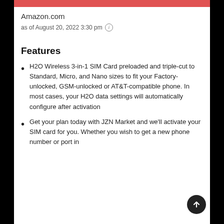Amazon.com
as of August 20, 2022 3:30 pm ℹ
Features
H2O Wireless 3-in-1 SIM Card preloaded and triple-cut to Standard, Micro, and Nano sizes to fit your Factory-unlocked, GSM-unlocked or AT&T-compatible phone. In most cases, your H2O data settings will automatically configure after activation
Get your plan today with JZN Market and we'll activate your SIM card for you. Whether you wish to get a new phone number or port in